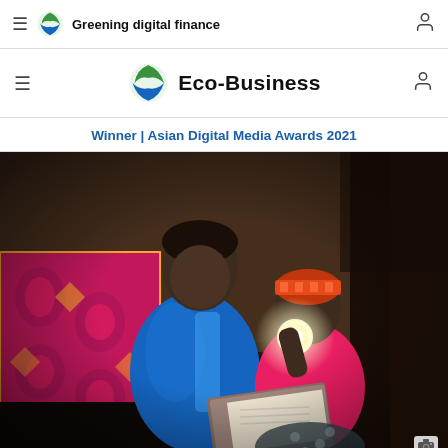Greening digital finance
Eco-Business
Winner | Asian Digital Media Awards 2021
[Figure (photo): A woman in a blue jacket sits with a young child wearing a pink top and decorated headband in a dimly lit room. The child holds a bright solar lamp while the woman reads from an open book. Colorful fabric and a patterned quilt are visible in the background.]